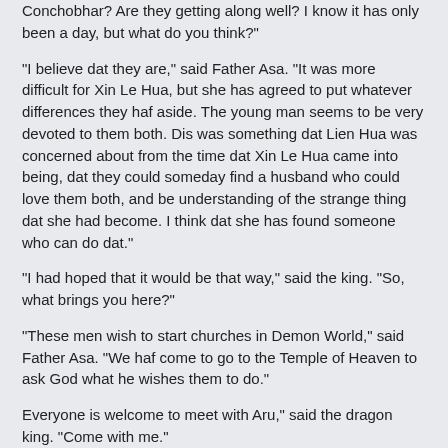Conchobhar? Are they getting along well? I know it has only been a day, but what do you think?"
"I believe dat they are," said Father Asa. "It was more difficult for Xin Le Hua, but she has agreed to put whatever differences they haf aside. The young man seems to be very devoted to them both. Dis was something dat Lien Hua was concerned about from the time dat Xin Le Hua came into being, dat they could someday find a husband who could love them both, and be understanding of the strange thing dat she had become. I think dat she has found someone who can do dat."
"I had hoped that it would be that way," said the king. "So, what brings you here?"
"These men wish to start churches in Demon World," said Father Asa. "We haf come to go to the Temple of Heaven to ask God what he wishes them to do."
Everyone is welcome to meet with Aru," said the dragon king. "Come with me."
He led the way up the stairs to the Temple of Heaven. When they arrived Saebhreathach opened the doors of the Temple for them. The silver tree with its gold leaves and diamond fruit glittered in the sunlight.